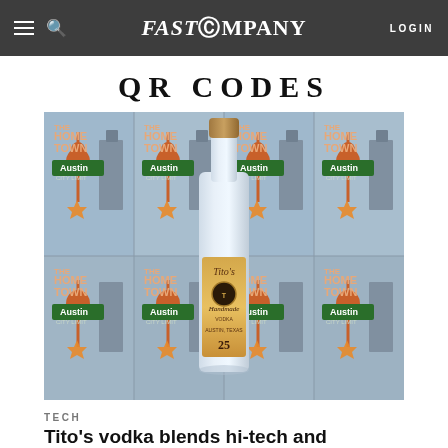FAST COMPANY | LOGIN
QR CODES
[Figure (photo): A Tito's Handmade Vodka bottle centered in front of a repeated tile background showing 'The Hometown Austin City Limit' promotional imagery with guitars, buildings, and a Texas star.]
TECH
Tito's vodka blends hi-tech and heritage for its 25th anniversary